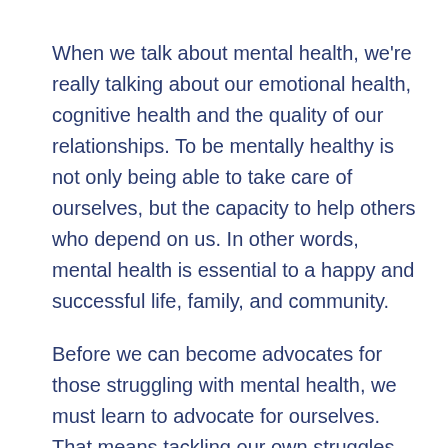When we talk about mental health, we're really talking about our emotional health, cognitive health and the quality of our relationships. To be mentally healthy is not only being able to take care of ourselves, but the capacity to help others who depend on us. In other words, mental health is essential to a happy and successful life, family, and community.
Before we can become advocates for those struggling with mental health, we must learn to advocate for ourselves. That means tackling our own struggles with a sense of self-love and self-awareness.